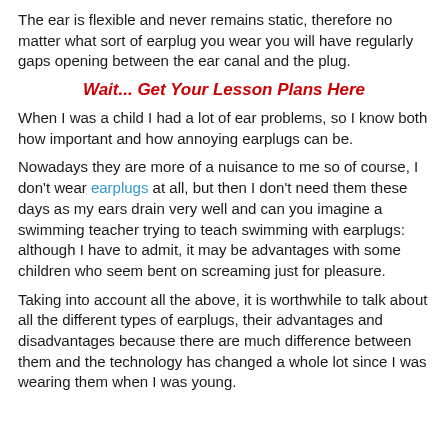The ear is flexible and never remains static, therefore no matter what sort of earplug you wear you will have regularly gaps opening between the ear canal and the plug.
Wait... Get Your Lesson Plans Here
When I was a child I had a lot of ear problems, so I know both how important and how annoying earplugs can be.
Nowadays they are more of a nuisance to me so of course, I don't wear earplugs at all, but then I don't need them these days as my ears drain very well and can you imagine a swimming teacher trying to teach swimming with earplugs: although I have to admit, it may be advantages with some children who seem bent on screaming just for pleasure.
Taking into account all the above, it is worthwhile to talk about all the different types of earplugs, their advantages and disadvantages because there are much difference between them and the technology has changed a whole lot since I was wearing them when I was young.